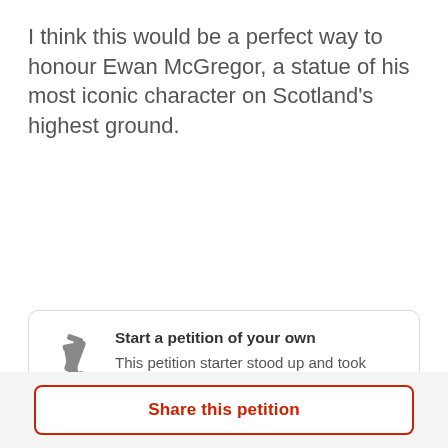I think this would be a perfect way to honour Ewan McGregor, a statue of his most iconic character on Scotland's highest ground.
Start a petition of your own
This petition starter stood up and took action. Will you do the same?
Share this petition